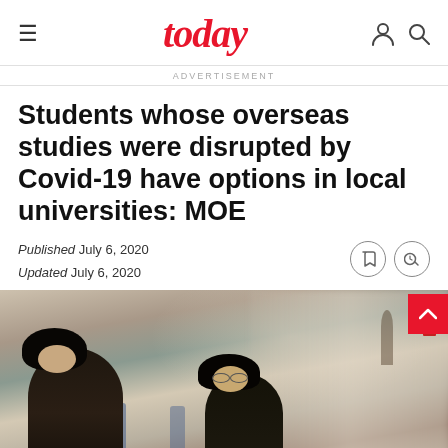today
ADVERTISEMENT
Students whose overseas studies were disrupted by Covid-19 have options in local universities: MOE
Published July 6, 2020
Updated July 6, 2020
[Figure (photo): Students studying at a university library or common area, blurred background showing a busy study environment]